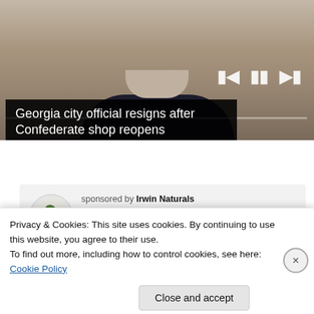[Figure (screenshot): Video player showing a man in a dark suit, with playback controls (skip back, pause, skip forward) and a progress bar overlay.]
Georgia city official resigns after Confederate shop reopens
[Figure (logo): Irwin Naturals logo — green leaf icon in a circle]
sponsored by Irwin Naturals
CSE: IWIN | OTC: Coming November 2021
Privacy & Cookies: This site uses cookies. By continuing to use this website, you agree to their use.
To find out more, including how to control cookies, see here: Cookie Policy
Close and accept